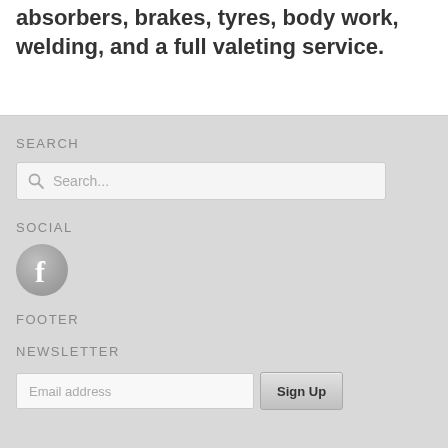absorbers, brakes, tyres, body work, welding, and a full valeting service.
SEARCH
[Figure (other): Search input box with magnifying glass icon and placeholder text 'Search...']
SOCIAL
[Figure (logo): Facebook circular icon with white letter f on grey background]
FOOTER
NEWSLETTER
[Figure (other): Email address input field with 'Email address' placeholder and 'Sign Up' button]